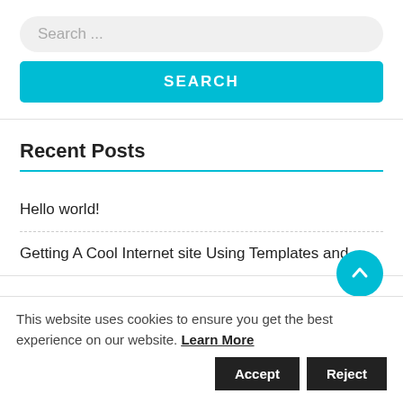Search ...
SEARCH
Recent Posts
Hello world!
Getting A Cool Internet site Using Templates and
This website uses cookies to ensure you get the best experience on our website. Learn More Accept Reject